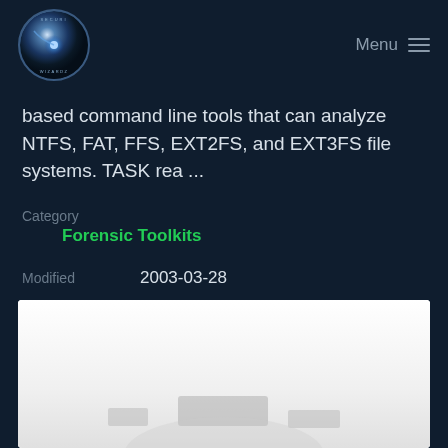Menu
based command line tools that can analyze NTFS, FAT, FFS, EXT2FS, and EXT3FS file systems. TASK rea ...
Category
Forensic Toolkits
Modified    2003-03-28
[Figure (screenshot): Screenshot thumbnail showing a white/light grey interface with faint UI shapes at the bottom]